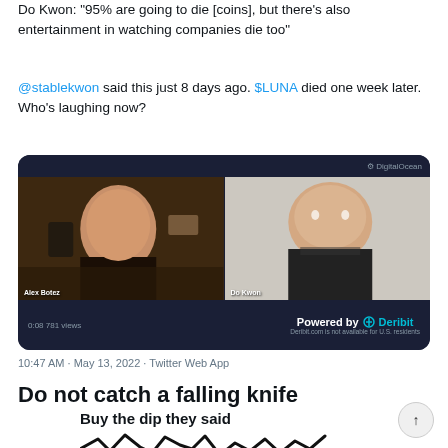Do Kwon: "95% are going to die [coins], but there's also entertainment in watching companies die too"
@stablekwon said this just 8 days ago. $LUNA died one week later. Who's laughing now?
[Figure (screenshot): Embedded video showing a split-screen with two people on a call — a woman (Alex Botez) on the left and a man (Do Kwon) on the right. Bottom bar shows 'Powered by Deribit' branding and timestamp 0:08, 781 views.]
10:47 AM · May 13, 2022 · Twitter Web App
Do not catch a falling knife
[Figure (illustration): Meme image with text 'Buy the dip they said' above a jagged downward trending line chart.]